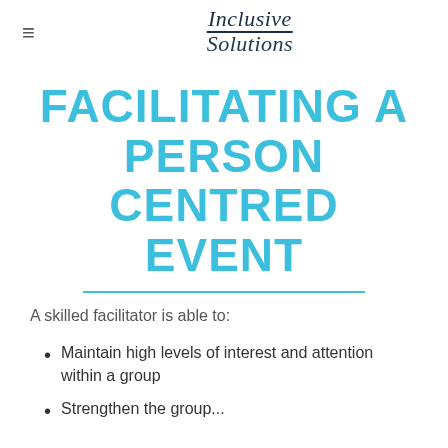≡  Inclusive Solutions
FACILITATING A PERSON CENTRED EVENT
A skilled facilitator is able to:
Maintain high levels of interest and attention within a group
Strengthen the group...